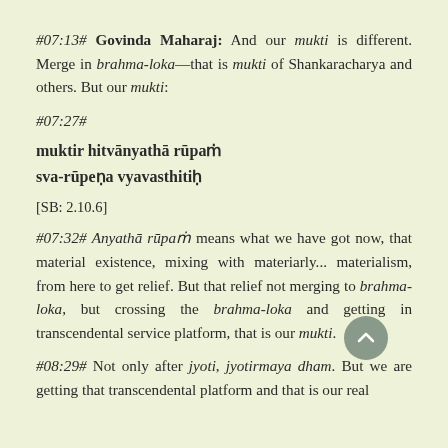#07:13# Govinda Maharaj: And our mukti is different. Merge in brahma-loka—that is mukti of Shankaracharya and others. But our mukti:
#07:27#
muktir hitvānyathā rūpaṁ
sva-rūpeṇa vyavasthitiḥ
[SB: 2.10.6]
#07:32# Anyathā rūpaṁ means what we have got now, that material existence, mixing with materiarly... materialism, from here to get relief. But that relief not merging to brahma-loka, but crossing the brahma-loka and getting in transcendental service platform, that is our mukti.
#08:29# Not only after jyoti, jyotirmaya dham. But we are getting that transcendental platform and that is our real